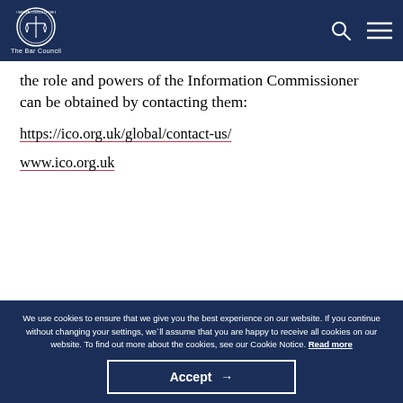The Bar Council — website header with logo, search icon, and menu icon
the role and powers of the Information Commissioner can be obtained by contacting them:
https://ico.org.uk/global/contact-us/
www.ico.org.uk
In this section
We use cookies to ensure that we give you the best experience on our website. If you continue without changing your settings, we'll assume that you are happy to receive all cookies on our website. To find out more about the cookies, see our Cookie Notice. Read more
Accept